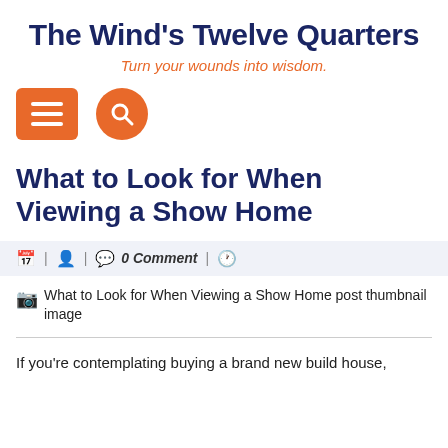The Wind's Twelve Quarters
Turn your wounds into wisdom.
[Figure (other): Navigation icons: orange square hamburger menu button and orange circle search button]
What to Look for When Viewing a Show Home
| | 0 Comment |
[Figure (photo): What to Look for When Viewing a Show Home post thumbnail image (broken/missing image)]
If you're contemplating buying a brand new build house,